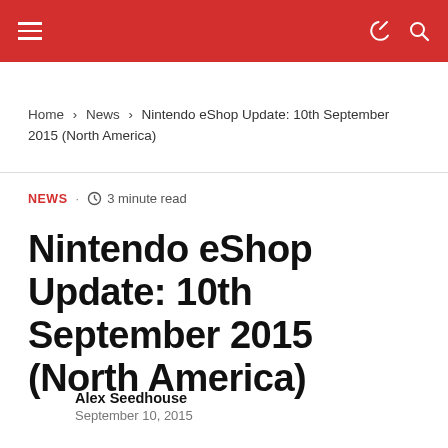Navigation bar with hamburger menu, moon icon, and search icon
Home > News > Nintendo eShop Update: 10th September 2015 (North America)
NEWS · 3 minute read
Nintendo eShop Update: 10th September 2015 (North America)
Alex Seedhouse
September 10, 2015